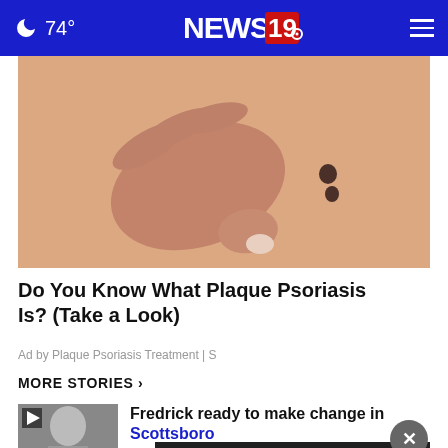74° NEWS 19
[Figure (photo): Close-up of hand touching skin with two moles/spots visible on light-colored skin background]
Do You Know What Plaque Psoriasis Is? (Take a Look)
Ad by Plaque Psoriasis Treatment | S
MORE STORIES ›
[Figure (photo): Thumbnail of a woman, video play button visible]
Fredrick ready to make change in Scottsboro
[Figure (photo): Thumbnail of outdoor scene, video play button visible]
...to be indicted
[Figure (screenshot): Dark advertisement banner overlay reading SHE CAN STEM with X close button]